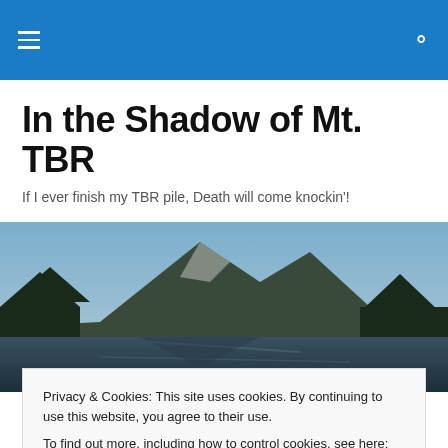Navigation header with hamburger menu and search icon
In the Shadow of Mt. TBR
If I ever finish my TBR pile, Death will come knockin'!
[Figure (photo): Panoramic landscape photo of a mountain reflected in a river or lake, with dense dark green trees framing the scene and a blue-grey sky]
TAGGED WITH ANAL
Privacy & Cookies: This site uses cookies. By continuing to use this website, you agree to their use.
To find out more, including how to control cookies, see here: Cookie Policy
Close and accept